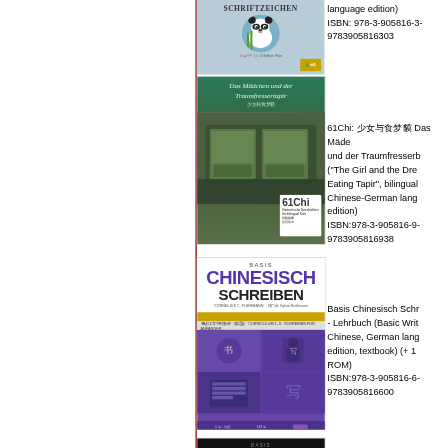[Figure (illustration): Book cover: Schriftzeichen, light blue background with panda illustration and Chinese publisher logos]
ISBN: 978-3-905816-3-
9783905816303
[Figure (illustration): Book cover: Das Mädchen und der Traumfressertapir (61Chi), dark green atmospheric illustration of a girl on a train, with white badge showing '61Chi' logo]
61Chi: 少女与食梦貘 Das Mädchen und der Traumfressertapir ("The Girl and the Dream-Eating Tapir", bilingual Chinese-German language edition)
ISBN:978-3-905816-9-
9783905816938
[Figure (illustration): Book cover: Basis Chinesisch Schreiben, purple and white cover with gold band, grid of photos showing Chinese writing/calligraphy activities]
Basis Chinesisch Schreiben - Lehrbuch (Basic Writing Chinese, German language edition, textbook) (+ 1 ROM)
ISBN:978-3-905816-6-
9783905816600
[Figure (illustration): Partial book cover: BASIS CHINESISCH text visible at top, dark background (bottom of page, partially visible)]